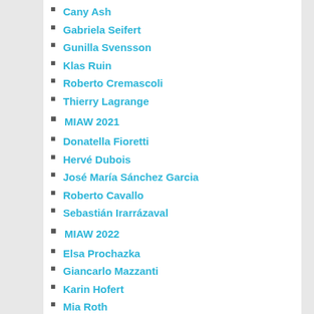Cany Ash
Gabriela Seifert
Gunilla Svensson
Klas Ruin
Roberto Cremascoli
Thierry Lagrange
MIAW 2021
Donatella Fioretti
Hervé Dubois
José María Sánchez Garcia
Roberto Cavallo
Sebastián Irarrázaval
MIAW 2022
Elsa Prochazka
Giancarlo Mazzanti
Karin Hofert
Mia Roth
Mladen Jadric
META
Log in